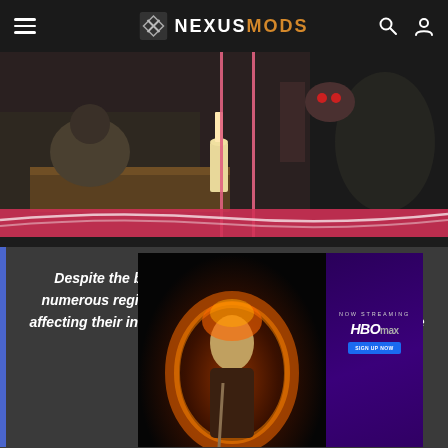NEXUSMODS
[Figure (screenshot): Game screenshot showing armored character kneeling at a table with pink/magenta vertical lines overlaid, and a horizontal pink banner at the bottom of the image]
Despite the brewing conflict of an ongoing civil war, numerous regions regularly experienced current events affecting their inhabitants in many meaningful ways, decisive decisions. To
[Figure (photo): Advertisement overlay for HBO Original Game of Thrones: House of the Dragon, showing a character surrounded by fire on black background, with NOW STREAMING HBO Max sign up button on purple background, and a close button]